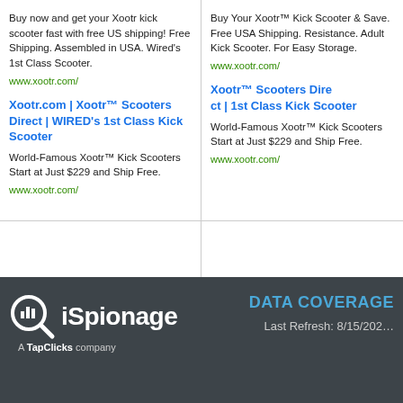Buy now and get your Xootr kick scooter fast with free US shipping! Free Shipping. Assembled in USA. Wired's 1st Class Scooter.
www.xootr.com/
Xootr.com | Xootr™ Scooters Direct | WIRED's 1st Class Kick Scooter
World-Famous Xootr™ Kick Scooters Start at Just $229 and Ship Free.
www.xootr.com/
Buy Your Xootr™ Kick Sc... Save. Free USA Shipping... Resistance. Adult Kick Sc... For Easy Storage.
www.xootr.com/
Xootr™ Scooters Dire... 1st Class Kick Scoote...
World-Famous Xootr™ K... at Just $229 and Ship Fre...
www.xootr.com/
[Figure (logo): iSpionage logo with magnifying glass icon, white text on dark background. Subtitle: A TapClicks company]
DATA COVERAGE
Last Refresh: 8/15/202...